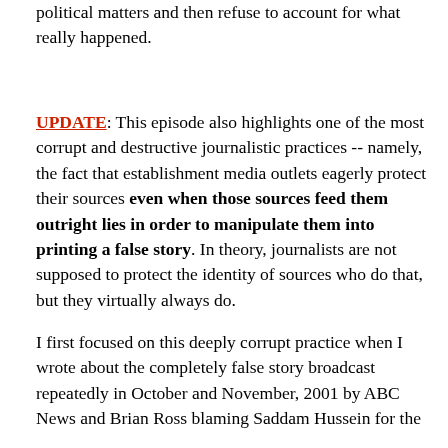political matters and then refuse to account for what really happened.
UPDATE: This episode also highlights one of the most corrupt and destructive journalistic practices -- namely, the fact that establishment media outlets eagerly protect their sources even when those sources feed them outright lies in order to manipulate them into printing a false story. In theory, journalists are not supposed to protect the identity of sources who do that, but they virtually always do.
I first focused on this deeply corrupt practice when I wrote about the completely false story broadcast repeatedly in October and November, 2001 by ABC News and Brian Ross blaming Saddam Hussein for the